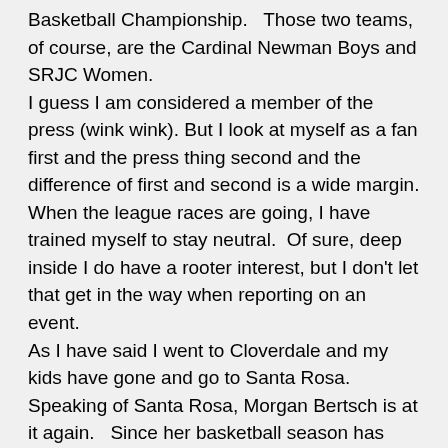Basketball Championship.   Those two teams, of course, are the Cardinal Newman Boys and SRJC Women. I guess I am considered a member of the press (wink wink). But I look at myself as a fan first and the press thing second and the difference of first and second is a wide margin. When the league races are going, I have trained myself to stay neutral.  Of sure, deep inside I do have a rooter interest, but I don't let that get in the way when reporting on an event. As I have said I went to Cloverdale and my kids have gone and go to Santa Rosa. Speaking of Santa Rosa, Morgan Bertsch is at it again.   Since her basketball season has ended she has been in two track meets. Her specialty is the high jump in which she finished sixth in the State Meet last year. In the first meet this season, she reached 5' 7", setting a new school record in the process.  After the meet she commented that she had a goal going into the season to break the school record.